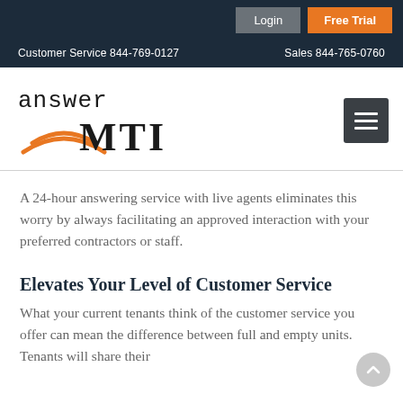Login | Free Trial
Customer Service 844-769-0127   Sales 844-765-0760
[Figure (logo): Answer MTI logo with orange arc graphic and stylized text]
A 24-hour answering service with live agents eliminates this worry by always facilitating an approved interaction with your preferred contractors or staff.
Elevates Your Level of Customer Service
What your current tenants think of the customer service you offer can mean the difference between full and empty units. Tenants will share their